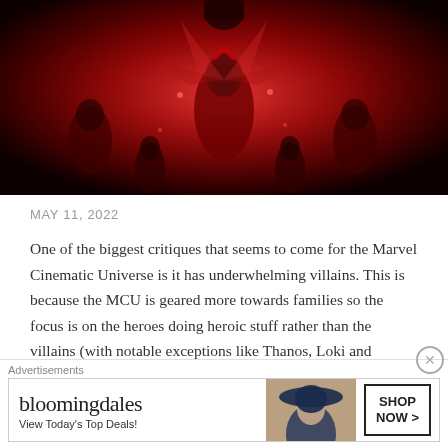[Figure (photo): Movie promotional image with red-toned cinematic poster showing a woman in red costume with others in background, dramatic lighting]
MAY 11, 2022
One of the biggest critiques that seems to come for the Marvel Cinematic Universe is it has underwhelming villains. This is because the MCU is geared more towards families so the focus is on the heroes doing heroic stuff rather than the villains (with notable exceptions like Thanos, Loki and Kilmonger). The studios latest entry,
Advertisements
[Figure (screenshot): Bloomingdale's advertisement banner: 'bloomingdales — View Today's Top Deals!' with woman in hat image and 'SHOP NOW >' button]